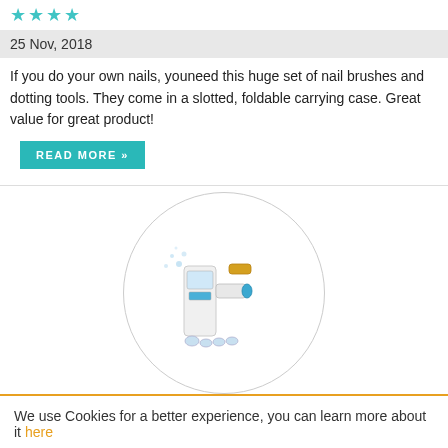★★★★ (stars)
25 Nov, 2018
If you do your own nails, youneed this huge set of nail brushes and dotting tools. They come in a slotted, foldable carrying case. Great value for great product!
READ MORE »
[Figure (photo): Product photo of a skin care/blackhead removal device with attachments, shown inside a circular frame]
We use Cookies for a better experience, you can learn more about it here
GOT IT